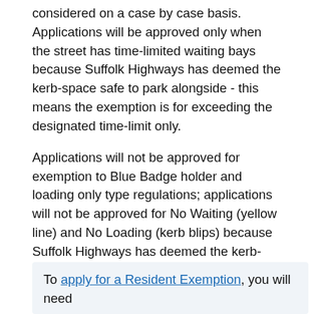considered on a case by case basis. Applications will be approved only when the street has time-limited waiting bays because Suffolk Highways has deemed the kerb-space safe to park alongside - this means the exemption is for exceeding the designated time-limit only.
Applications will not be approved for exemption to Blue Badge holder and loading only type regulations; applications will not be approved for No Waiting (yellow line) and No Loading (kerb blips) because Suffolk Highways has deemed the kerb-space be kept clear for road user safety and traffic movement reasons. When applying for a resident exemption, proof of residency, vehicle ownership and payment card details are required to complete the application process.
To apply for a Resident Exemption, you will need